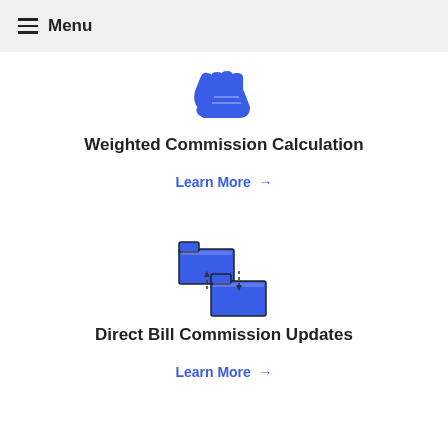Menu
[Figure (illustration): Blue hand icon offering/receiving, representing commission calculation]
Weighted Commission Calculation
Learn More →
[Figure (illustration): Two blue file folders with dotted arrows between them, representing data transfer for commission updates]
Direct Bill Commission Updates
Learn More →